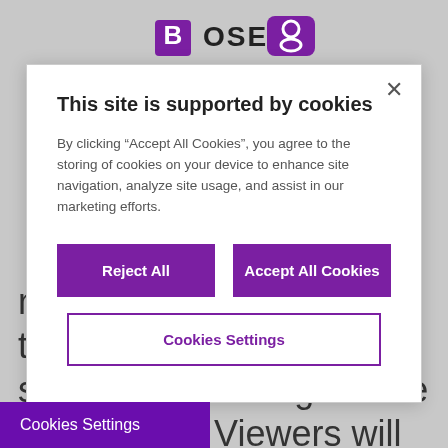[Figure (logo): BOSE logo with icon at top of page]
members performing their favourite Christmas songs and wishing festive cheer to all. Viewers will also hear a brass performance of 'In the Bleak Midwinter', rformed by one of the UK's
This site is supported by cookies
By clicking "Accept All Cookies", you agree to the storing of cookies on your device to enhance site navigation, analyze site usage, and assist in our marketing efforts.
Reject All
Accept All Cookies
Cookies Settings
Cookies Settings